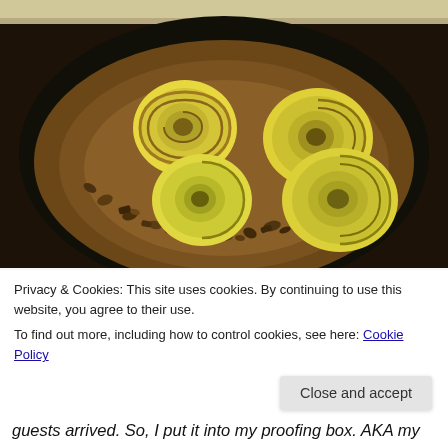[Figure (photo): A dark round baking pan containing four cinnamon rolls with yellow/cream-colored dough swirls and dark filling, surrounded by chopped pecans on a brown batter base. The pan sits on a marble countertop.]
Privacy & Cookies: This site uses cookies. By continuing to use this website, you agree to their use.
To find out more, including how to control cookies, see here: Cookie Policy
Close and accept
guests arrived. So, I put it into my proofing box. AKA my